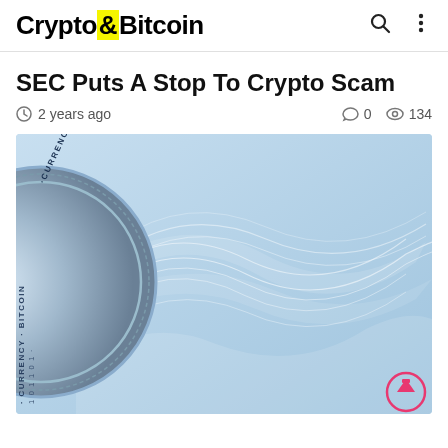Crypto&Bitcoin
SEC Puts A Stop To Crypto Scam
2 years ago   0   134
[Figure (photo): Illustration of a cryptocurrency coin (labeled CURRENCY – BITCOIN) on the left side, with abstract white mesh wave shapes on a light blue background.]